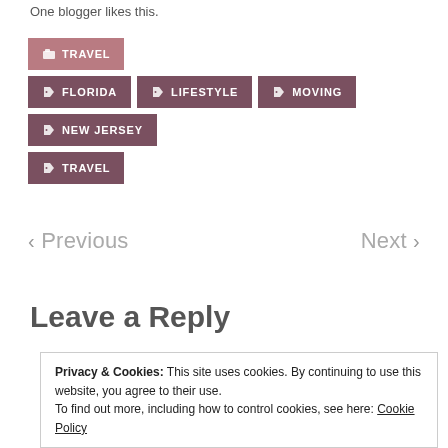One blogger likes this.
TRAVEL (category button)
FLORIDA (tag button)
LIFESTYLE (tag button)
MOVING (tag button)
NEW JERSEY (tag button)
TRAVEL (tag button)
< Previous    Next >
Leave a Reply
Privacy & Cookies: This site uses cookies. By continuing to use this website, you agree to their use. To find out more, including how to control cookies, see here: Cookie Policy
Close and accept